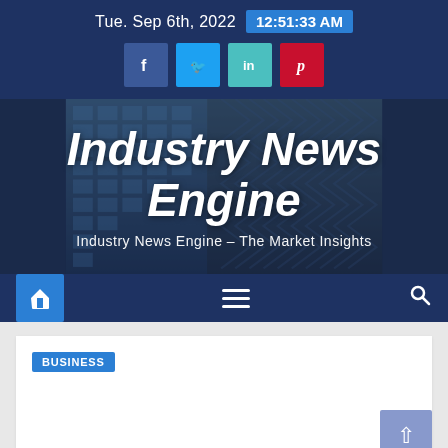Tue. Sep 6th, 2022  12:51:33 AM
[Figure (logo): Social media icon buttons: Facebook (blue), Twitter (light blue), LinkedIn (teal), Pinterest (red)]
[Figure (photo): Hero banner with a photo of a glass building facade viewed from below at an angle, overlaid with the site title 'Industry News Engine' in large bold white italic text and subtitle 'Industry News Engine - The Market Insights']
Industry News Engine
Industry News Engine – The Market Insights
Navigation bar with home icon, hamburger menu, and search icon
BUSINESS